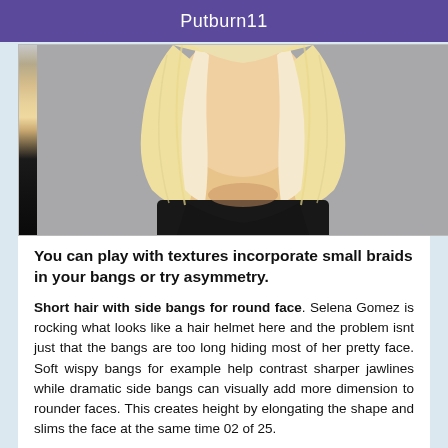Putburn11
[Figure (photo): Close-up photo of a woman with blonde shoulder-length hair wearing a black top, showing hair and neck area]
You can play with textures incorporate small braids in your bangs or try asymmetry.
Short hair with side bangs for round face. Selena Gomez is rocking what looks like a hair helmet here and the problem isnt just that the bangs are too long hiding most of her pretty face. Soft wispy bangs for example help contrast sharper jawlines while dramatic side bangs can visually add more dimension to rounder faces. This creates height by elongating the shape and slims the face at the same time 02 of 25.